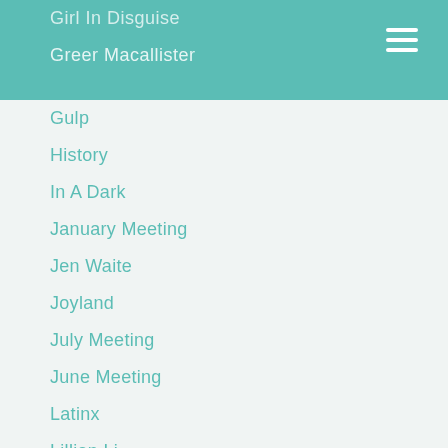Girl In Disguise
Greer Macallister
Gulp
History
In A Dark
January Meeting
Jen Waite
Joyland
July Meeting
June Meeting
Latinx
Lillian Li
Literature
Little Fires Everywhere
March
Margot Adler
May
Memoir
Mr. Penumbra
Mystery
Newberry Award Winner